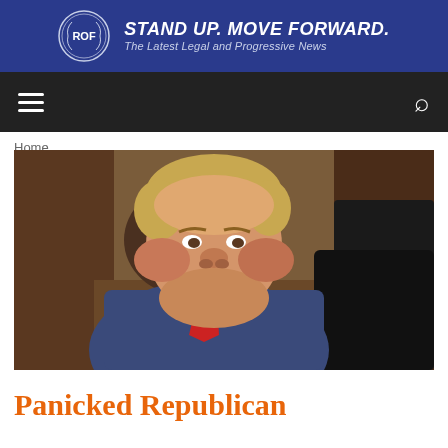[Figure (logo): ROF website banner with logo and tagline: STAND UP. MOVE FORWARD. The Latest Legal and Progressive News]
[Figure (screenshot): Dark navigation bar with hamburger menu on left and search icon on right]
Home
[Figure (photo): Close-up photo of a man in a blue suit with red tie at what appears to be a meeting table]
Panicked Republican